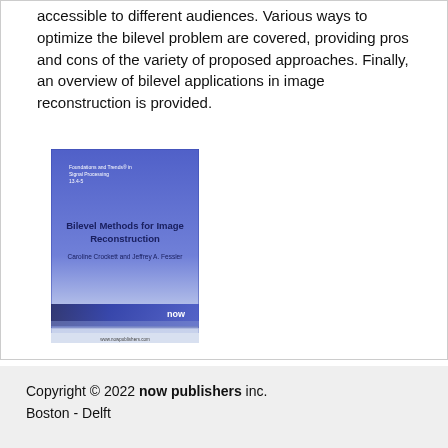accessible to different audiences. Various ways to optimize the bilevel problem are covered, providing pros and cons of the variety of proposed approaches. Finally, an overview of bilevel applications in image reconstruction is provided.
[Figure (illustration): Book cover of 'Bilevel Methods for Image Reconstruction' by Caroline Crockett and Jeffrey A. Fessler, published by now publishers. The cover has a blue/purple gradient background with the title and authors in dark text, and the 'now' publisher logo at the bottom right.]
Copyright © 2022 now publishers inc.
Boston - Delft